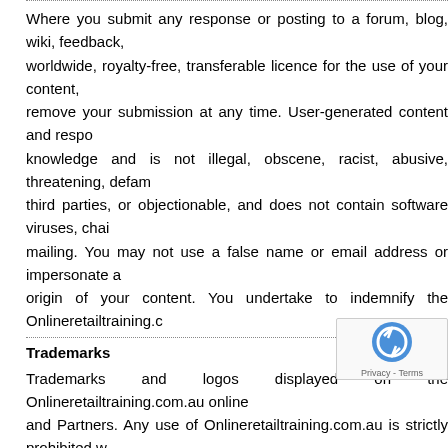Where you submit any response or posting to a forum, blog, wiki, feedback, worldwide, royalty-free, transferable licence for the use of your content, remove your submission at any time. User-generated content and responses knowledge and is not illegal, obscene, racist, abusive, threatening, defamatory, third parties, or objectionable, and does not contain software viruses, chain mailing. You may not use a false name or email address or impersonate another origin of your content. You undertake to indemnify the Onlineretailtraining.c
Trademarks
Trademarks and logos displayed on the Onlineretailtraining.com.au online and Partners. Any use of Onlineretailtraining.com.au is strictly prohibited w
Personal data and privacy
Use of the data collected by use of our websites or provided by you on our Privacy Policy.
External Links
The Onlineretailtraining.com.au online learning websites contain links for convenience, and inclusion of any link does not imply endorsement or approval of content of any linked website (with the exception of Onlineretailtraining.
Email security
Any email correspondence between you and the Onlineretailtraining securely within our corporate firewall. Email correspondence between you